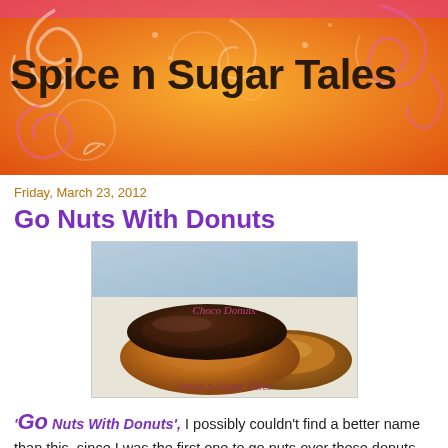Spice n Sugar Tales
Friday, March 23, 2012
Go Nuts With Donuts
[Figure (photo): Close-up photo of chocolate glazed donuts with text 'Choco Donuts' and 'Spice n Sugar Tales' watermark]
'Go Nuts With Donuts', I possibly couldn't find a better name than this, since I was the first one to go nuts over these donuts. There are certain foods which are always on